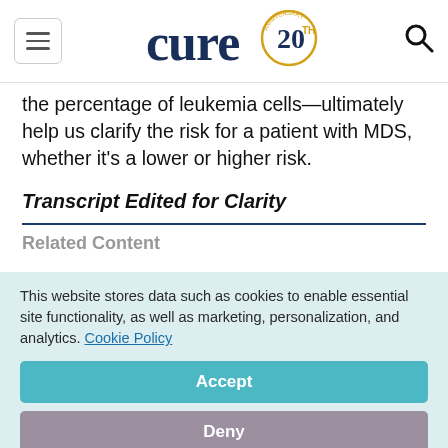cure 20th anniversary logo, search icon
the percentage of leukemia cells—ultimately help us clarify the risk for a patient with MDS, whether it's a lower or higher risk.
Transcript Edited for Clarity
Related Content (partial, obscured)
This website stores data such as cookies to enable essential site functionality, as well as marketing, personalization, and analytics. Cookie Policy
Accept
Deny